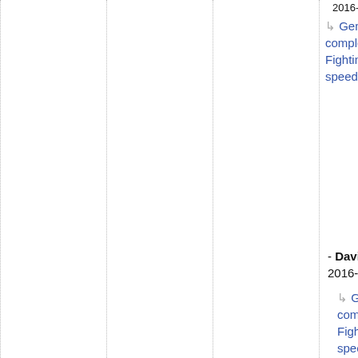2016-03-26, 14:2…
Genome complexity: Fighting viruses speeds evolution?
- David Turell ®, 2016-04-08,
Genome complexity: Fighting viruses speeds evolution?
- dhw ®, 2016-04-
Genome complexity: Fighting viruses speeds evolution? (truncated)